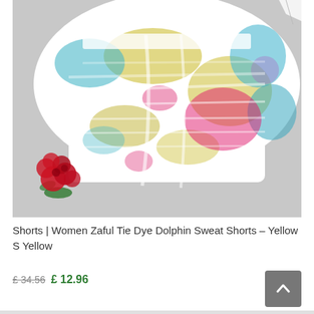[Figure (photo): Tie-dye shorts product photo on grey background with red roses prop. The shorts display multicolor tie-dye pattern in yellow, blue, pink and white.]
Shorts | Women Zaful Tie Dye Dolphin Sweat Shorts – Yellow S Yellow
£ 34.56  £ 12.96